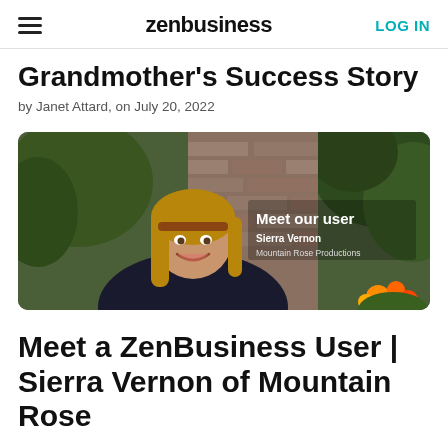zenbusiness | LOG IN
Grandmother's Success Story
by Janet Attard, on July 20, 2022
[Figure (photo): A smiling young woman with long blonde hair and a floral headband, wearing a black shirt, standing outdoors near brick wall and trees. Overlay text reads: Meet our user / Sierra Vernon / Mountain Rose Productions]
Meet a ZenBusiness User | Sierra Vernon of Mountain Rose